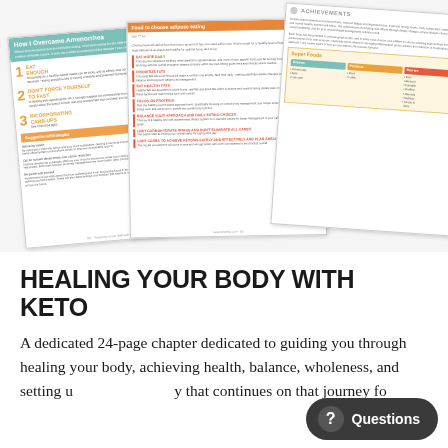[Figure (photo): Fan of three overlapping document pages about keto diet and healing, showing excerpts of text, sections like 'How I Overcame Amenorrhea', 'Suggestions', 'Super Foods', and 'Achievements'.]
HEALING YOUR BODY WITH KETO
A dedicated 24-page chapter dedicated to guiding you through healing your body, achieving health, balance, wholeness, and setting up a journey that continues on that journey for...